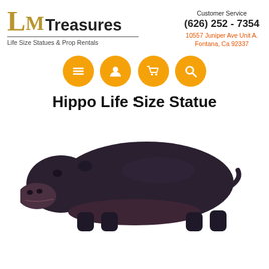[Figure (logo): LM Treasures logo with gold L and M letters, black Treasures text, horizontal divider, tagline: Life Size Statues & Prop Rentals]
Customer Service
(626) 252 - 7354
10557 Juniper Ave Unit A.
Fontana, Ca 92337
[Figure (infographic): Four orange circular navigation icon buttons: menu (hamburger), user/account, shopping cart, search (magnifying glass)]
Hippo Life Size Statue
[Figure (photo): Side profile photo of a life size dark grey/black hippopotamus statue on white background, facing left]